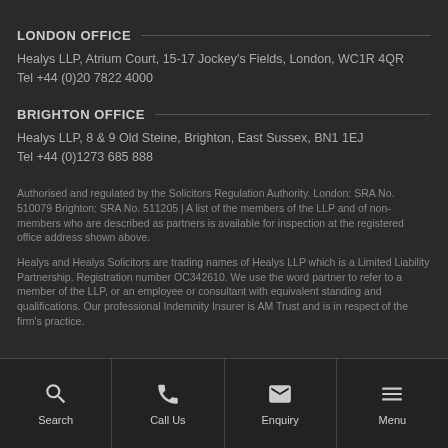LONDON OFFICE
Healys LLP, Atrium Court, 15-17 Jockey's Fields, London, WC1R 4QR
Tel +44 (0)20 7822 4000
BRIGHTON OFFICE
Healys LLP, 8 & 9 Old Steine, Brighton, East Sussex, BN1 1EJ
Tel +44 (0)1273 685 888
Authorised and regulated by the Solicitors Regulation Authority. London: SRA No. 510079 Brighton: SRA No. 511205 | A list of the members of the LLP and of non-members who are described as partners is available for inspection at the registered office address shown above.
Healys and Healys Solicitors are trading names of Healys LLP which is a Limited Liability Partnership. Registration number OC342610. We use the word partner to refer to a member of the LLP, or an employee or consultant with equivalent standing and qualifications. Our professional Indemnity Insurer is AM Trust and is in respect of the firm's practice.
Search | Call Us | Enquiry | Menu